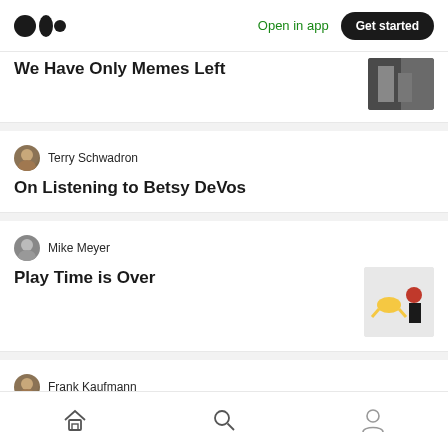Medium — Open in app | Get started
We Have Only Memes Left
Terry Schwadron
On Listening to Betsy DeVos
Mike Meyer
Play Time is Over
Frank Kaufmann
Friends and Political Difference in Polarized Times
Terry Schwadron
Home | Search | Profile